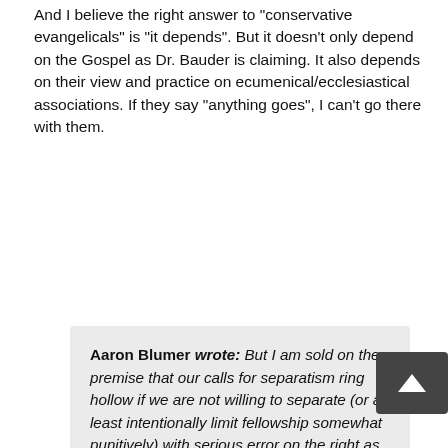And I believe the right answer to "conservative evangelicals" is "it depends". But it doesn't only depend on the Gospel as Dr. Bauder is claiming. It also depends on their view and practice on ecumenical/ecclesiastical associations. If they say "anything goes", I can't go there with them.
Aaron Blumer wrote: But I am sold on the premise that our calls for separatism ring hollow if we are not willing to separate (or at least intentionally limit fellowship somewhat punitively) with serious error on the right as well as on the left.
In this we agree entirely. In the past, I've been as vocal on this forum as anyone could wish about Hammond, for instance. As far as I am aware, Pensacola has been extremely divisive on this issue, and I believe Titus 3 applies to them. Proud divisiveness is a significant problem in much of the KJVO movement.